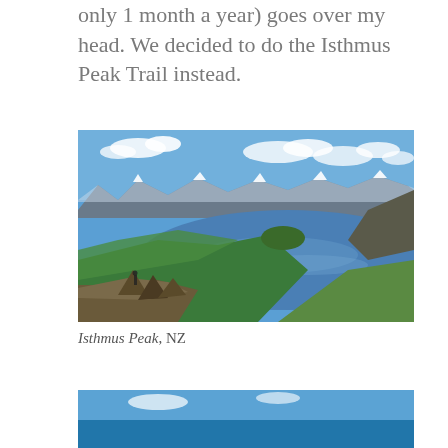only 1 month a year) goes over my head. We decided to do the Isthmus Peak Trail instead.
[Figure (photo): Panoramic view from Isthmus Peak showing a large mountain lake surrounded by snow-capped mountains and green hills, with a hiker visible on rocky foreground.]
Isthmus Peak, NZ
[Figure (photo): Partial view of another photo, showing blue sky and water, cropped at bottom of page.]